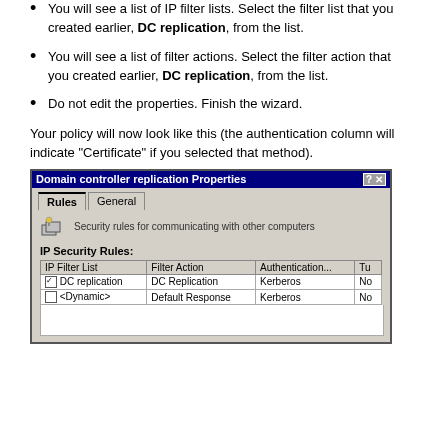You will see a list of IP filter lists. Select the filter list that you created earlier, DC replication, from the list.
You will see a list of filter actions. Select the filter action that you created earlier, DC replication, from the list.
Do not edit the properties. Finish the wizard.
Your policy will now look like this (the authentication column will indicate "Certificate" if you selected that method).
[Figure (screenshot): Windows dialog box titled 'Domain controller replication Properties' showing Rules and General tabs. The IP Security Rules section shows a table with columns: IP Filter List, Filter Action, Authentication, Tu. Two rows: 1) checked DC replication / DC Replication / Kerberos / No, 2) unchecked <Dynamic> / Default Response / Kerberos / No.]